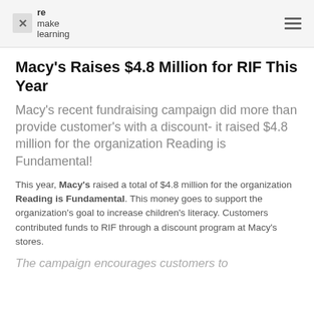remake learning
Macy's Raises $4.8 Million for RIF This Year
Macy's recent fundraising campaign did more than provide customer's with a discount- it raised $4.8 million for the organization Reading is Fundamental!
This year, Macy's raised a total of $4.8 million for the organization Reading is Fundamental. This money goes to support the organization's goal to increase children's literacy. Customers contributed funds to RIF through a discount program at Macy's stores.
The campaign encourages customers to